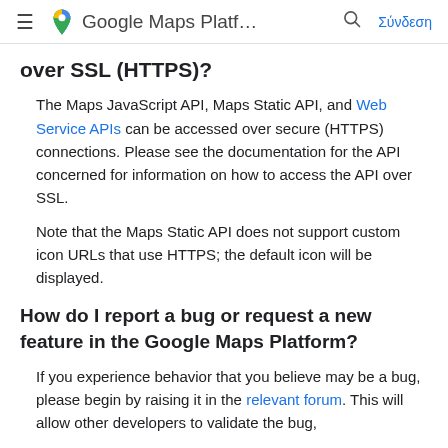≡  Google Maps Platf…  🔍  Σύνδεση
over SSL (HTTPS)?
The Maps JavaScript API, Maps Static API, and Web Service APIs can be accessed over secure (HTTPS) connections. Please see the documentation for the API concerned for information on how to access the API over SSL.
Note that the Maps Static API does not support custom icon URLs that use HTTPS; the default icon will be displayed.
How do I report a bug or request a new feature in the Google Maps Platform?
If you experience behavior that you believe may be a bug, please begin by raising it in the relevant forum. This will allow other developers to validate the bug,